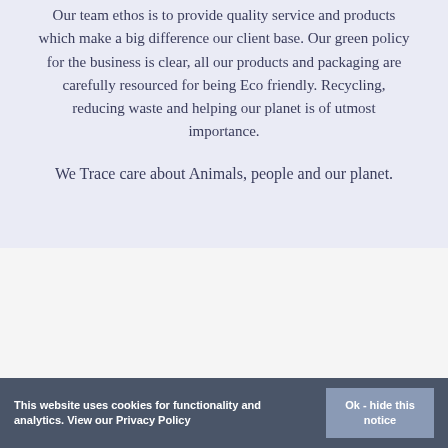Our team ethos is to provide quality service and products which make a big difference our client base. Our green policy for the business is clear, all our products and packaging are carefully resourced for being Eco friendly. Recycling, reducing waste and helping our planet is of utmost importance.
We Trace care about Animals, people and our planet.
This website uses cookies for functionality and analytics. View our Privacy Policy